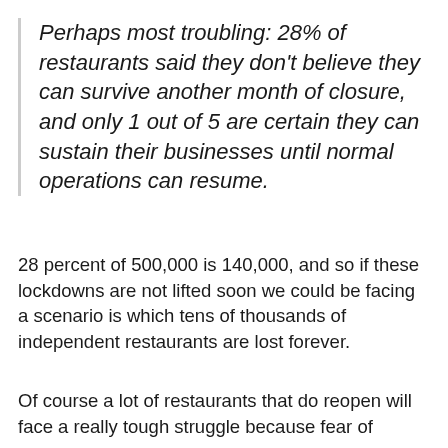Perhaps most troubling: 28% of restaurants said they don't believe they can survive another month of closure, and only 1 out of 5 are certain they can sustain their businesses until normal operations can resume.
28 percent of 500,000 is 140,000, and so if these lockdowns are not lifted soon we could be facing a scenario is which tens of thousands of independent restaurants are lost forever.
Of course a lot of restaurants that do reopen will face a really tough struggle because fear of